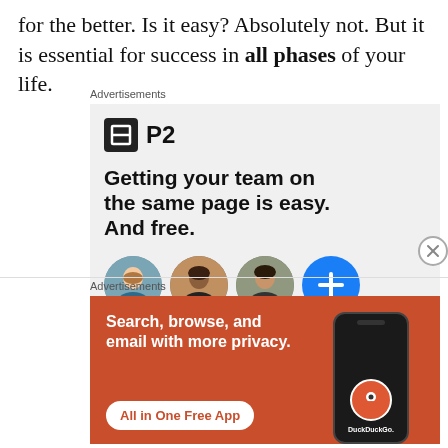for the better. Is it easy? Absolutely not. But it is essential for success in all phases of your life.
Advertisements
[Figure (infographic): P2 advertisement: logo with bold P2 text, headline 'Getting your team on the same page is easy. And free.' with three circular avatar photos and a blue plus circle]
Advertisements
[Figure (infographic): DuckDuckGo advertisement on orange/red background: 'Search, browse, and email with more privacy. All in One Free App' with phone mockup showing DuckDuckGo logo]